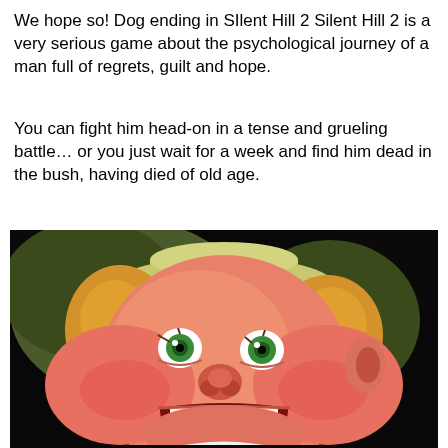We hope so! Dog ending in SIlent Hill 2 Silent Hill 2 is a very serious game about the psychological journey of a man full of regrets, guilt and hope.
You can fight him head-on in a tense and grueling battle… or you just wait for a week and find him dead in the bush, having died of old age.
[Figure (photo): Animated cartoon character with a chubby face, wide open mouth screaming or shocked, green eyes, blond hair, wearing a light-colored hat, depicted in a classic animation style against a dark background.]